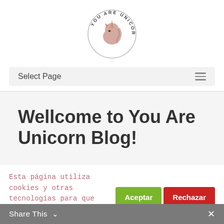[Figure (logo): You Are Unicorn circular logo with unicorn head illustration in center and text 'YOU ARE UNICORN' around the border]
Select Page
Wellcome to You Are Unicorn Blog!
Esta página utiliza cookies y otras tecnologías para que podamos mejorar su experiencia en nuestros sitios: Más información.
Share This